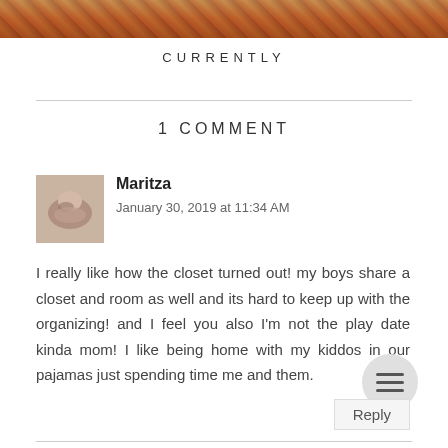[Figure (photo): Partial photo strip at top of page showing flowers/plants in warm tones]
CURRENTLY
1 COMMENT
[Figure (photo): Small avatar photo of commenter Maritza]
Maritza
January 30, 2019 at 11:34 AM
I really like how the closet turned out! my boys share a closet and room as well and its hard to keep up with the organizing! and I feel you also I'm not the play date kinda mom! I like being home with my kiddos in our pajamas just spending time me and them.
Reply